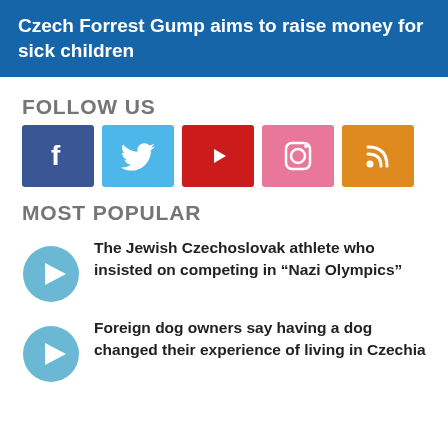Czech Forrest Gump aims to raise money for sick children
FOLLOW US
[Figure (infographic): Social media icons: Facebook (blue), Twitter (light blue), YouTube (red), Instagram (pink), RSS (orange)]
MOST POPULAR
The Jewish Czechoslovak athlete who insisted on competing in “Nazi Olympics”
Foreign dog owners say having a dog changed their experience of living in Czechia